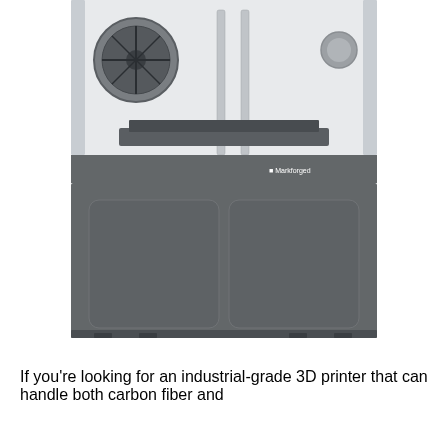[Figure (photo): Front view of a Markforged industrial 3D printer. The machine has a gray metallic body with a transparent upper chamber showing two vertical metal rods and a build platform. A circular fan is visible on the left side of the upper chamber. The lower section has a large gray cabinet base with two rounded-rectangle door panels side by side. The Markforged logo is visible on the upper-right area of the main body.]
If you're looking for an industrial-grade 3D printer that can handle both carbon fiber and